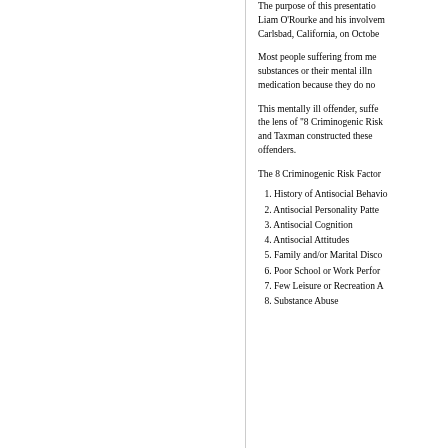The purpose of this presentation... Liam O'Rourke and his involvement... Carlsbad, California, on October...
Most people suffering from mental illness do not abuse substances or their mental illness... medication because they do not...
This mentally ill offender, suffered... the lens of "8 Criminogenic Risk... and Taxman constructed these... offenders.
The 8 Criminogenic Risk Factors:
1. History of Antisocial Behavior
2. Antisocial Personality Pattern
3. Antisocial Cognition
4. Antisocial Attitudes
5. Family and/or Marital Discord
6. Poor School or Work Performance
7. Few Leisure or Recreation Activities
8. Substance Abuse